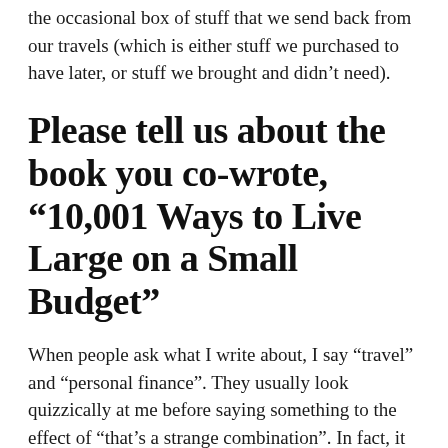the occasional box of stuff that we send back from our travels (which is either stuff we purchased to have later, or stuff we brought and didn't need).
Please tell us about the book you co-wrote, “10,001 Ways to Live Large on a Small Budget”
When people ask what I write about, I say “travel” and “personal finance”. They usually look quizzically at me before saying something to the effect of “that’s a strange combination”. In fact, it isn’t! And I’ve married the two quite nicely in this book.
But 10,001 Ways to Live Large on a Small Budget is about way more than just travel (which is one of a dozen sections in the book); there are literally 10,001